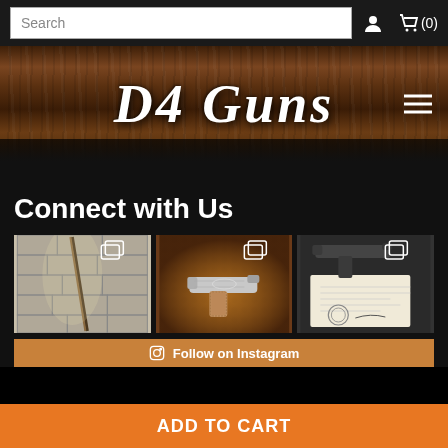[Figure (screenshot): Search bar with 'Search' placeholder text]
[Figure (logo): D4 Guns logo in cursive white text on wood-grain background header]
Connect with Us
[Figure (photo): Three Instagram photo thumbnails: 1) Rifle leaning against stone wall, 2) Ornate silver pistol on brown leather, 3) Handgun with official document/certificate]
Follow on Instagram
ADD TO CART